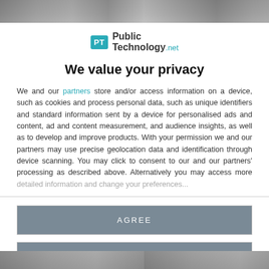[Figure (photo): Top banner photo strip showing people, blurred/cropped]
[Figure (logo): PublicTechnology.net logo with PT icon in teal]
We value your privacy
We and our partners store and/or access information on a device, such as cookies and process personal data, such as unique identifiers and standard information sent by a device for personalised ads and content, ad and content measurement, and audience insights, as well as to develop and improve products. With your permission we and our partners may use precise geolocation data and identification through device scanning. You may click to consent to our and our partners' processing as described above. Alternatively you may access more detailed information and...
AGREE
MORE OPTIONS
[Figure (photo): Bottom banner photo strip, partially visible]